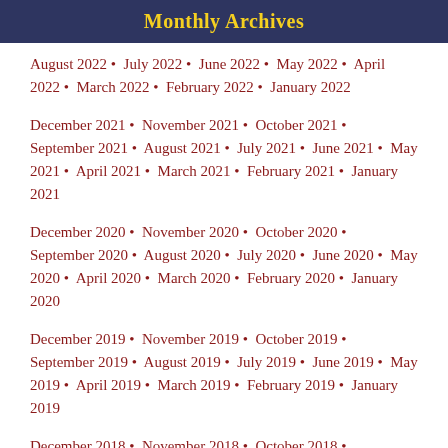Monthly Archives
August 2022 • July 2022 • June 2022 • May 2022 • April 2022 • March 2022 • February 2022 • January 2022
December 2021 • November 2021 • October 2021 • September 2021 • August 2021 • July 2021 • June 2021 • May 2021 • April 2021 • March 2021 • February 2021 • January 2021
December 2020 • November 2020 • October 2020 • September 2020 • August 2020 • July 2020 • June 2020 • May 2020 • April 2020 • March 2020 • February 2020 • January 2020
December 2019 • November 2019 • October 2019 • September 2019 • August 2019 • July 2019 • June 2019 • May 2019 • April 2019 • March 2019 • February 2019 • January 2019
December 2018 • November 2018 • October 2018 • September 2018 • August 2018 • July 2018 • June 2018 • May 2018 • April 2018 • March 2018 • February 2018 • January 2018